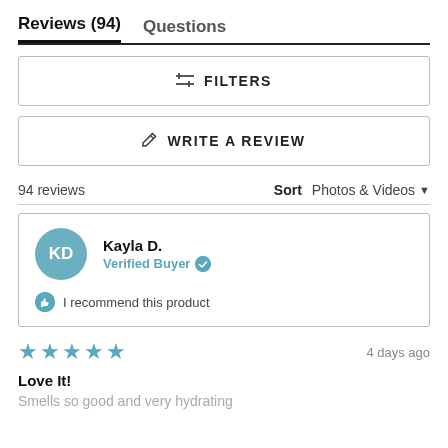Reviews (94)   Questions
≡  FILTERS
✏  WRITE A REVIEW
94 reviews   Sort   Photos & Videos ▼
KD  Kayla D.  Verified Buyer  👍 I recommend this product
★★★★★  4 days ago
Love It!
Smells so good and very hydrating